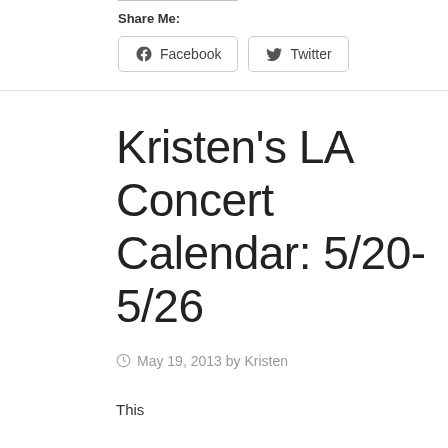Share Me:
Facebook  Twitter
Kristen’s LA Concert Calendar: 5/20-5/26
May 19, 2013 by Kristen
This…